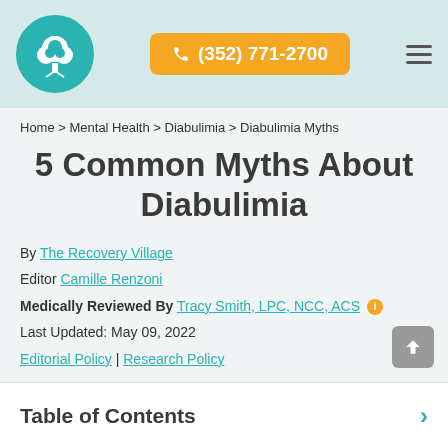(352) 771-2700
Home > Mental Health > Diabulimia > Diabulimia Myths
5 Common Myths About Diabulimia
By The Recovery Village
Editor Camille Renzoni
Medically Reviewed By Tracy Smith, LPC, NCC, ACS
Last Updated: May 09, 2022
Editorial Policy | Research Policy
Table of Contents